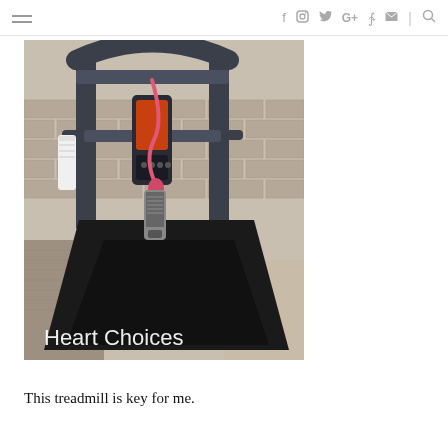☰ f ⊙ 𝕥 G+ ℘ )) | 🔍
[Figure (photo): A treadmill with a pink resistance band hanging from the top handle bar, a white towel draped on the left rail, and a small tower fan/heater placed on the running deck. Background shows a brick wall and carpet. Text overlay reads 'Heart Choices'.]
This treadmill is key for me.